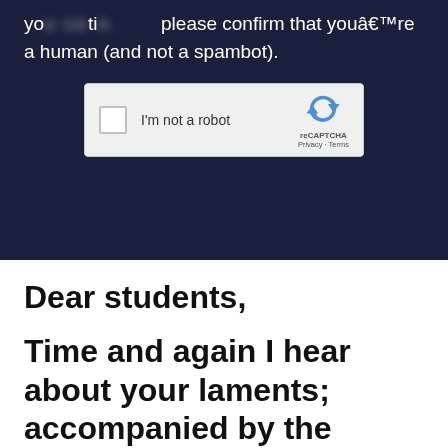[Figure (screenshot): Screenshot of a dark-background website section showing partially blurred text 'you could tion. [blurred] please confirm that you're a human (and not a spambot).' with a reCAPTCHA widget below containing a checkbox labeled 'I'm not a robot' and the reCAPTCHA logo with Privacy · Terms links.]
Dear students,
Time and again I hear about your laments; accompanied by the hand-wringing and wails of despair – "how will I ever